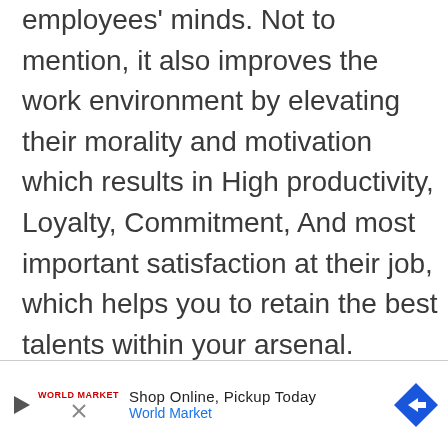employees' minds. Not to mention, it also improves the work environment by elevating their morality and motivation which results in High productivity, Loyalty, Commitment, And most important satisfaction at their job, which helps you to retain the best talents within your arsenal.
[Figure (other): Advertisement banner for World Market: 'Shop Online, Pickup Today' with a navigation arrow logo, play button, and close button.]